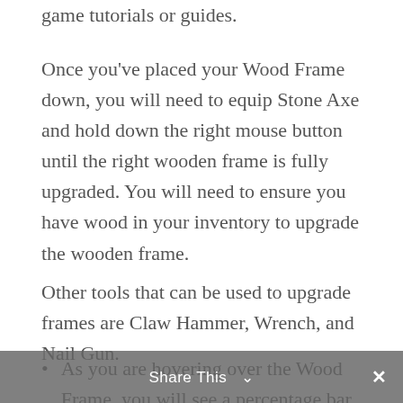game tutorials or guides.
Once you've placed your Wood Frame down, you will need to equip Stone Axe and hold down the right mouse button until the right wooden frame is fully upgraded. You will need to ensure you have wood in your inventory to upgrade the wooden frame.
Other tools that can be used to upgrade frames are Claw Hammer, Wrench, and Nail Gun.
As you are hovering over the Wood Frame, you will see a percentage bar. This bar will display how much more is needed to finish
Share This ✓  ×